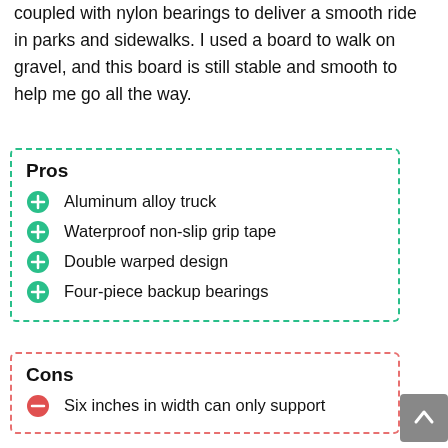coupled with nylon bearings to deliver a smooth ride in parks and sidewalks. I used a board to walk on gravel, and this board is still stable and smooth to help me go all the way.
Pros
Aluminum alloy truck
Waterproof non-slip grip tape
Double warped design
Four-piece backup bearings
Cons
Six inches in width can only support